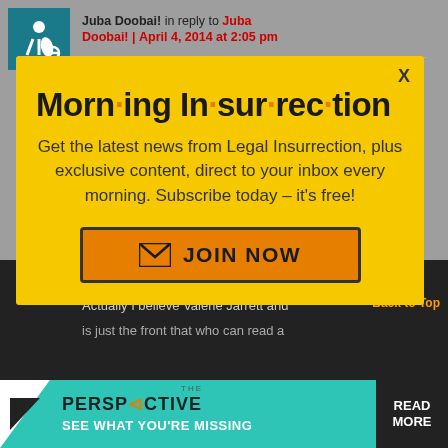[Figure (screenshot): Accessibility icon - white wheelchair user on teal/dark background]
Juba Doobai! in reply to Juba Doobai! | April 4, 2014 at 2:05 pm
The Koran.
[Figure (infographic): Morning Insurrection newsletter signup modal with yellow background. Title: 'Morn·ing In·sur·rec·tion'. Body: 'Get the latest news from Legal Insurrection, plus exclusive content, direct to your inbox every morning. Subscribe today – it's free!' Button: 'JOIN NOW']
Actually I believe Valerie Jarrett and
[Figure (infographic): The Perspective banner ad: 'THE PERSPECTIVE - SEE WHAT YOU'RE MISSING' with READ MORE button on teal background]